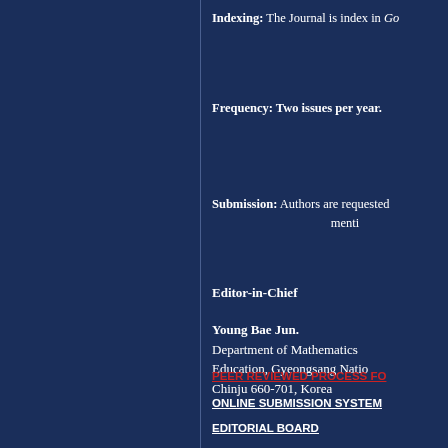Indexing: The Journal is index in Go...
Frequency: Two issues per year.
Submission: Authors are requested ... menti...
Editor-in-Chief
Young Bae Jun.
Department of Mathematics Education, Gyeongsang Natio...
Chinju 660-701, Korea
PEER REVIEWED PROCESS FO...
ONLINE SUBMISSION SYSTEM...
EDITORIAL BOARD